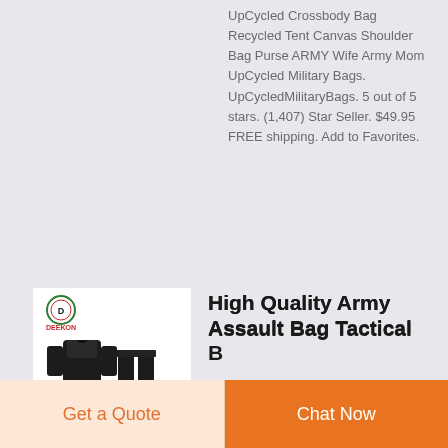UpCycled Crossbody Bag Recycled Tent Canvas Shoulder Bag Purse ARMY Wife Army Mom UpCycled Military Bags. UpCycledMilitaryBags. 5 out of 5 stars. (1,407) Star Seller. $49.95 FREE shipping. Add to Favorites.
[Figure (photo): Product image showing DEEKON branded black military uniform/assault suit - jacket and pants set, with DEEKON logo in top left corner]
High Quality Army Assault Bag Tactical...
Get a Quote
Chat Now